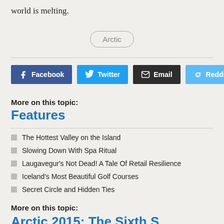world is melting.
Arctic
Facebook
Twitter
Email
Reddit
More on this topic:
Features
The Hottest Valley on the Island
Slowing Down With Spa Ritual
Laugavegur's Not Dead! A Tale Of Retail Resilience
Iceland's Most Beautiful Golf Courses
Secret Circle and Hidden Ties
More on this topic:
Arctic 2015: The Sixth S…